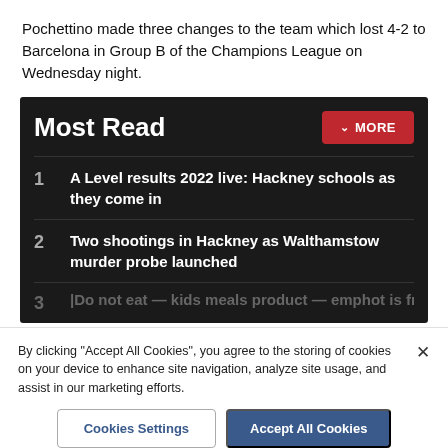Pochettino made three changes to the team which lost 4-2 to Barcelona in Group B of the Champions League on Wednesday night.
Most Read
A Level results 2022 live: Hackney schools as they come in
Two shootings in Hackney as Walthamstow murder probe launched
[Partially visible — truncated]
By clicking "Accept All Cookies", you agree to the storing of cookies on your device to enhance site navigation, analyze site usage, and assist in our marketing efforts.
Cookies Settings | Accept All Cookies